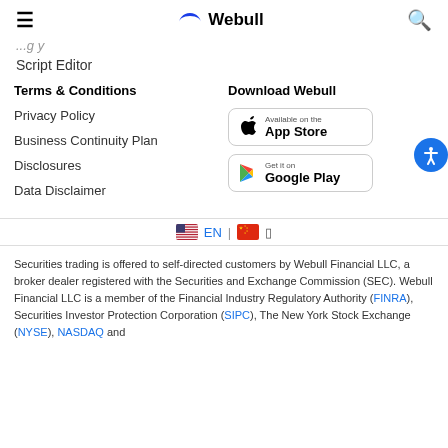≡  Webull  🔍
Script Editor
Terms & Conditions
Privacy Policy
Business Continuity Plan
Disclosures
Data Disclaimer
Download Webull
[Figure (screenshot): Available on the App Store button]
[Figure (screenshot): Get it on Google Play button]
🇺🇸 EN | 🇨🇳 □
Securities trading is offered to self-directed customers by Webull Financial LLC, a broker dealer registered with the Securities and Exchange Commission (SEC). Webull Financial LLC is a member of the Financial Industry Regulatory Authority (FINRA), Securities Investor Protection Corporation (SIPC), The New York Stock Exchange (NYSE), NASDAQ and